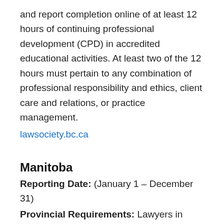and report completion online of at least 12 hours of continuing professional development (CPD) in accredited educational activities. At least two of the 12 hours must pertain to any combination of professional responsibility and ethics, client care and relations, or practice management.
lawsociety.bc.ca
Manitoba
Reporting Date: (January 1 – December 31)
Provincial Requirements: Lawyers in Manitoba are required to complete one hour of eligible Continuing Professional Development (CPD) activities for each month in the calendar year that they maintained active practicing status. If a lawyer maintained active practicing status for three or more months in the calendar year, one